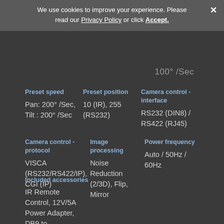We use cookies to improve your experience. Please read our Privacy Policy or click Accept.
100° /Sec
| Preset speed | Preset position | Camera control - interface |
| --- | --- | --- |
| Pan: 200° /Sec, Tilt : 200° /Sec | 10 (IR), 255 (RS232) | RS232 (DIN8) / RS422 (RJ45) |
| Camera control - protocol | Image processing | Power frequency |
| VISCA (RS232/RS422/IP), CGI (IP) | Noise Reduction (2/3D), Flip, Mirror | Auto / 50Hz / 60Hz |
Included accessories
IR Remote Control, 12V/5A Power Adapter, DB9 to DIN6/DIN8